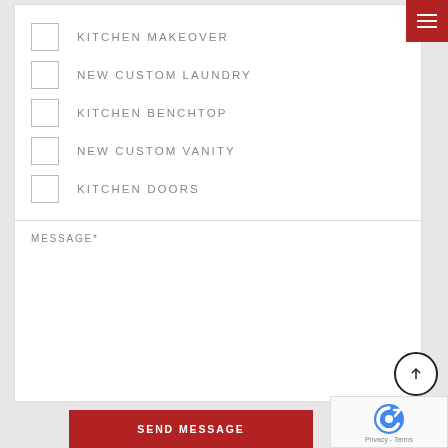[Figure (other): Red hamburger menu button in top-right corner with three white horizontal lines]
KITCHEN MAKEOVER
NEW CUSTOM LAUNDRY
KITCHEN BENCHTOP
NEW CUSTOM VANITY
KITCHEN DOORS
MESSAGE*
[Figure (other): Up arrow navigation button — circle with upward pointing arrow]
SEND MESSAGE
[Figure (other): Google reCAPTCHA widget with logo and Privacy - Terms text]